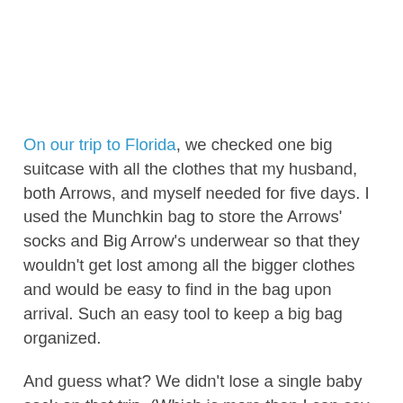On our trip to Florida, we checked one big suitcase with all the clothes that my husband, both Arrows, and myself needed for five days. I used the Munchkin bag to store the Arrows' socks and Big Arrow's underwear so that they wouldn't get lost among all the bigger clothes and would be easy to find in the bag upon arrival. Such an easy tool to keep a big bag organized.
And guess what? We didn't lose a single baby sock on that trip. (Which is more than I can say for a typical week around home.)
On our trip to Chicago last weekend, when we left Big Arrow at home and traveled only with Little Arrow (more on this to come!), we packed all the clothes he would need in the